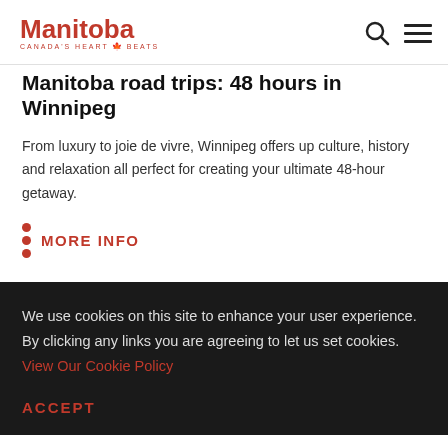Manitoba Canada's Heart Beats
Manitoba road trips: 48 hours in Winnipeg
From luxury to joie de vivre, Winnipeg offers up culture, history and relaxation all perfect for creating your ultimate 48-hour getaway.
MORE INFO
We use cookies on this site to enhance your user experience. By clicking any links you are agreeing to let us set cookies. View Our Cookie Policy
ACCEPT